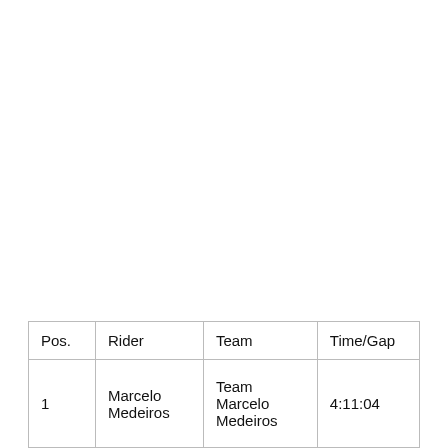| Pos. | Rider | Team | Time/Gap |
| --- | --- | --- | --- |
| 1 | Marcelo Medeiros | Team Marcelo Medeiros | 4:11:04 |